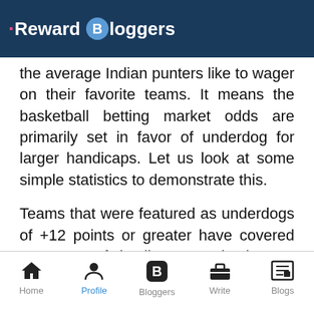Reward Bloggers
the average Indian punters like to wager on their favorite teams. It means the basketball betting market odds are primarily set in favor of underdog for larger handicaps. Let us look at some simple statistics to demonstrate this.
Teams that were featured as underdogs of +12 points or greater have covered over 53% of the line, over the last 10 NBA seasons.
Home  Profile  Bloggers  Write  Blogs